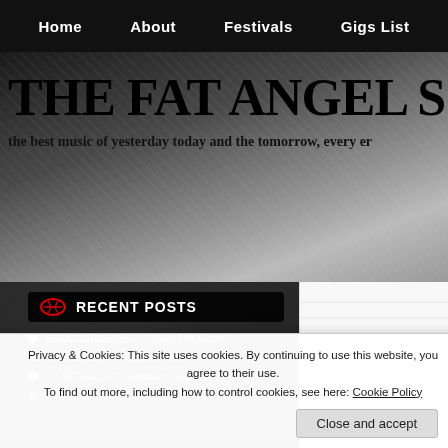Home   About   Festivals   Gigs List
THE FAT ANGEL S
the best music of yesterday today and the tomorrow, every er
RECENT POSTS
SKULLCRUSHER – " Quiet The Room "
BOB DYLAN – " Retrospectrum "
TY SEGALL – " Levitation Sessions "
Classic Albums
LOST
Posted: Octob
[Figure (photo): No photo description image placeholder]
Lost Horizons, the d
Raymonde's label B
Privacy & Cookies: This site uses cookies. By continuing to use this website, you agree to their use.
To find out more, including how to control cookies, see here: Cookie Policy
Close and accept